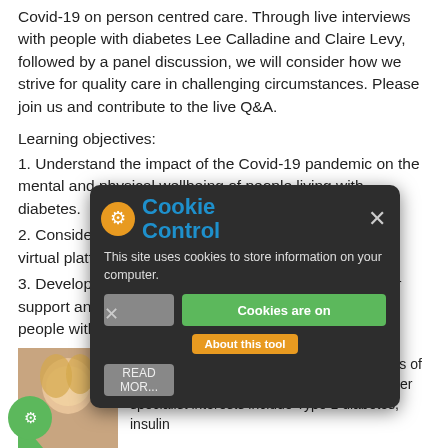Covid-19 on person centred care. Through live interviews with people with diabetes Lee Calladine and Claire Levy, followed by a panel discussion, we will consider how we strive for quality care in challenging circumstances. Please join us and contribute to the live Q&A.
Learning objectives:
1. Understand the impact of the Covid-19 pandemic on the mental and physical wellbeing of people living with diabetes.
2. Consider the pro's and con's of delivering care on a virtual platform
3. Develop and understanding of the importance of peer support and how healthcare professionals can support people with diabetes to access this
Emma Wilmot
[Figure (photo): Photo of Emma Wilmot, partially visible, showing a woman with blonde hair]
Consultant Diabetologist at University Hospitals of Derby and Burton NHS Foundation Trust. Her specialist interests include Type 1 diabetes, insulin
[Figure (screenshot): Cookie Control popup overlay on a dark background. Contains Cookie Control logo with orange gear icon, blue title text 'Cookie Control', close X button, dismiss X button, text 'This site uses cookies to store information on your computer.', grey and green 'Cookies are on' button, and orange 'About this tool' button, with a READ MORE section below.]